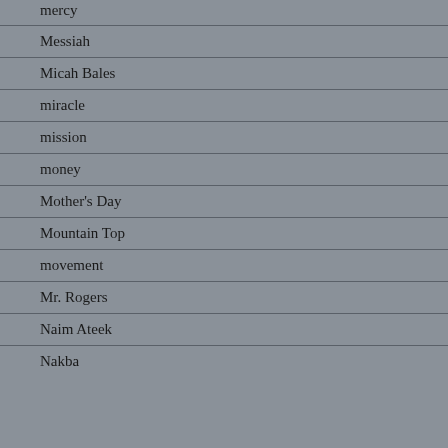mercy
Messiah
Micah Bales
miracle
mission
money
Mother's Day
Mountain Top
movement
Mr. Rogers
Naim Ateek
Nakba